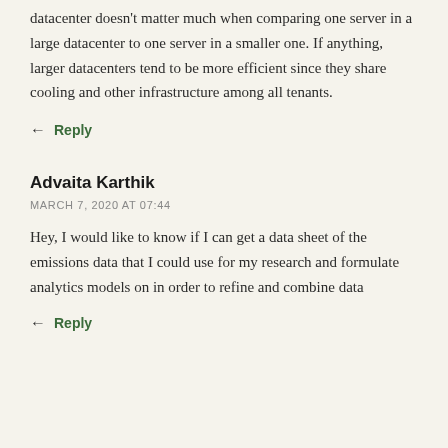datacenter doesn't matter much when comparing one server in a large datacenter to one server in a smaller one. If anything, larger datacenters tend to be more efficient since they share cooling and other infrastructure among all tenants.
Reply
Advaita Karthik
MARCH 7, 2020 AT 07:44
Hey, I would like to know if I can get a data sheet of the emissions data that I could use for my research and formulate analytics models on in order to refine and combine data
Reply